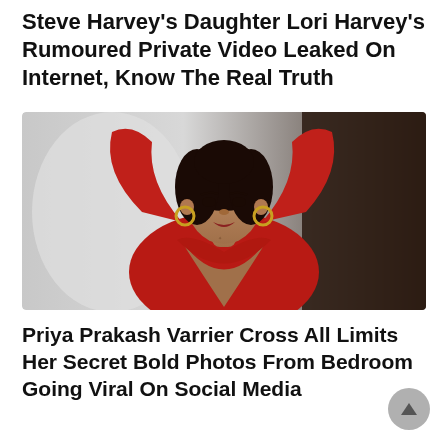Steve Harvey's Daughter Lori Harvey's Rumoured Private Video Leaked On Internet, Know The Real Truth
[Figure (photo): A woman in a red long-sleeve deep-V top with hands raised behind her head, wearing gold hoop earrings, with dark curly hair, photographed against a light background.]
Priya Prakash Varrier Cross All Limits Her Secret Bold Photos From Bedroom Going Viral On Social Media